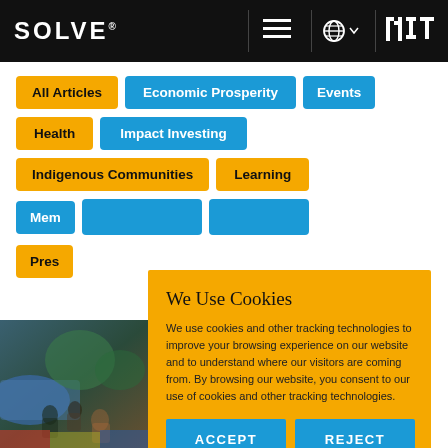SOLVE® MIT
All Articles
Economic Prosperity
Events
Health
Impact Investing
Indigenous Communities
Learning
Mem...
Pres...
We Use Cookies
We use cookies and other tracking technologies to improve your browsing experience on our website and to understand where our visitors are coming from. By browsing our website, you consent to our use of cookies and other tracking technologies.
ACCEPT
REJECT
[Figure (photo): Photo of people, partially visible at bottom left corner of screen]